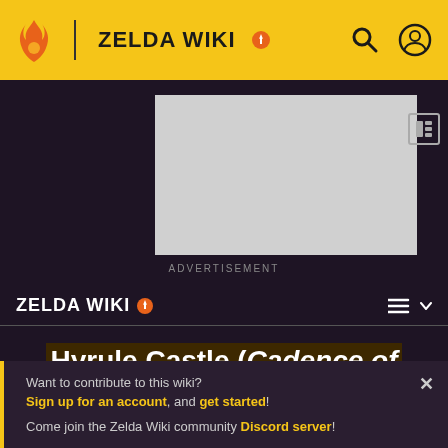ZELDA WIKI
[Figure (screenshot): Advertisement placeholder - gray rectangle]
ADVERTISEMENT
ZELDA WIKI
Hyrule Castle (Cadence of Hyrule)
Want to contribute to this wiki? Sign up for an account, and get started! Come join the Zelda Wiki community Discord server!